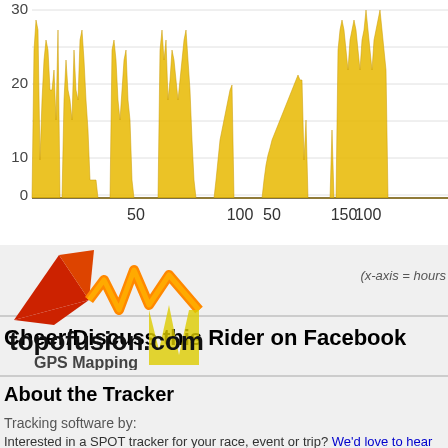[Figure (area-chart): Area chart showing rider speed over ~200 hours. Yellow/gold filled area with spiky peaks reaching up to ~30, with many intervals near 0. X-axis labels at 50, 100, 150. Y-axis labels at 0, 10, 20, 30.]
(x-axis = hours
Cheer/Discuss this Rider on Facebook
About the Tracker
Tracking software by:
[Figure (logo): topofusion.com GPS Mapping logo with red/orange lightning bolt graphic]
Interested in a SPOT tracker for your race, event or trip? We'd love to hear from you.